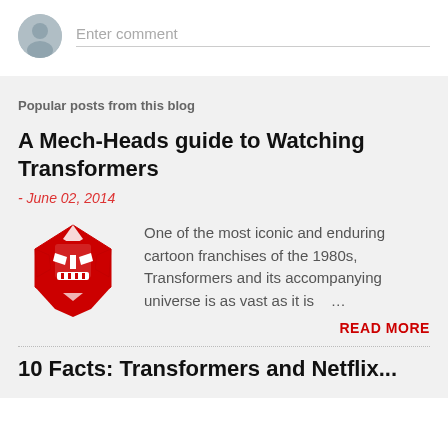Enter comment
Popular posts from this blog
A Mech-Heads guide to Watching Transformers
- June 02, 2014
[Figure (logo): Red Transformers Autobot logo on light background]
One of the most iconic and enduring cartoon franchises of the 1980s, Transformers and its accompanying universe is as vast as it is ...
READ MORE
10 Facts: Transformers and Netflix...